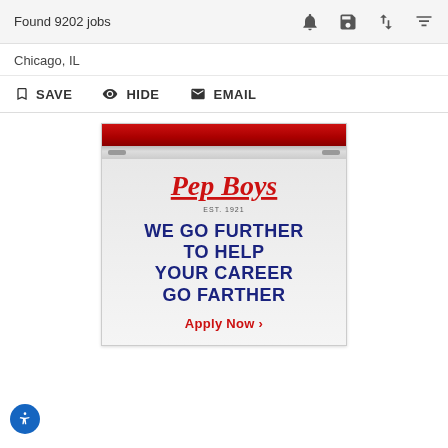Found 9202 jobs
Chicago, IL
SAVE   HIDE   EMAIL
[Figure (illustration): Pep Boys advertisement banner showing red garage door top, company logo 'Pep Boys EST. 1921', tagline 'WE GO FURTHER TO HELP YOUR CAREER GO FARTHER', and 'Apply Now >' link]